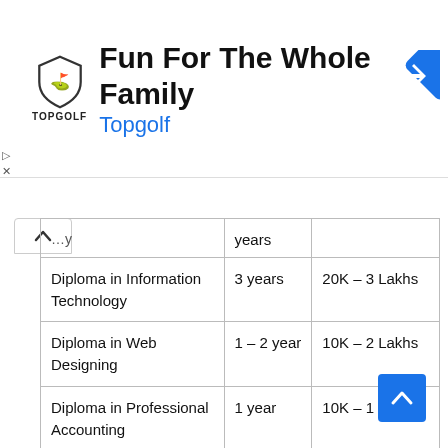[Figure (infographic): Topgolf advertisement banner with shield logo, title 'Fun For The Whole Family', subtitle 'Topgolf', and a blue navigation arrow icon on the right]
| Course | Duration | Fee Range |
| --- | --- | --- |
| Diploma in Information Technology | 3 years | 20K – 3 Lakhs |
| Diploma in Web Designing | 1 – 2 year | 10K – 2 Lakhs |
| Diploma in Professional Accounting | 1 year | 10K – 1 Lakh |
| Diploma in Telecom Technology | 3 years | 20K – 2 Lakhs |